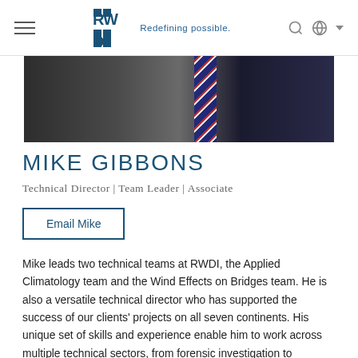RWDI — Redefining possible.
[Figure (photo): Close-up photo of a person in a suit with a patterned tie, dark background]
MIKE GIBBONS
Technical Director | Team Leader | Associate
Email Mike
Mike leads two technical teams at RWDI, the Applied Climatology team and the Wind Effects on Bridges team. He is also a versatile technical director who has supported the success of our clients' projects on all seven continents. His unique set of skills and experience enable him to work across multiple technical sectors, from forensic investigation to renewable energy. Mike has particular expertise in the statistical analysis of meteorological data and the determination of code compliant design values. Among many other contributions, Mike creates wind, snow and temperature climates and the theory methods that are ding of